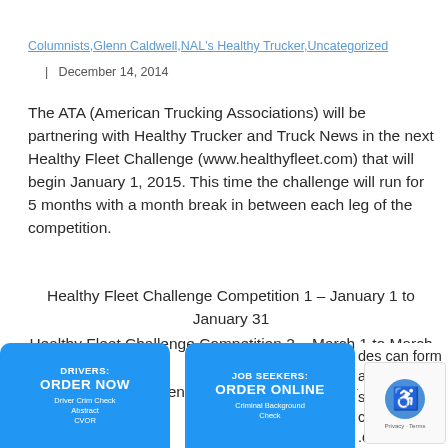Columnists,Glenn Caldwell,NAL's Healthy Trucker,Uncategorized  |  December 14, 2014
The ATA (American Trucking Associations) will be partnering with Healthy Trucker and Truck News in the next Healthy Fleet Challenge (www.healthyfleet.com) that will begin January 1, 2015. This time the challenge will run for 5 months with a month break in between each leg of the competition.
Healthy Fleet Challenge Competition 1 – January 1 to January 31
Healthy Fleet Challenge Competition 2 – March 1 to March 31
Healthy Fleet Challenge Competition 3  May 1 to May 30
[Figure (infographic): Blue banner ad: DRIVERS: ORDER NOW - Driver Crim Check, Abstract, CVOR]
[Figure (infographic): Blue banner ad: JOB SEEKERS: ORDER ONLINE - Criminal Background Check]
des can form a tea s go and contact .com. The challenge is free